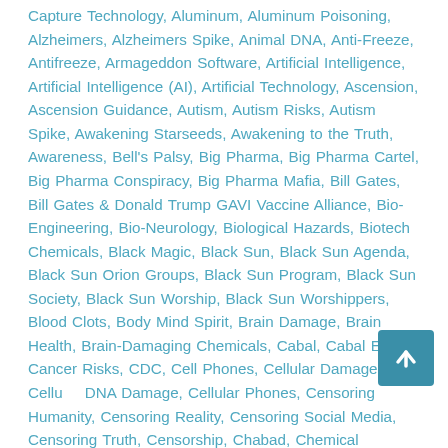Capture Technology, Aluminum, Aluminum Poisoning, Alzheimers, Alzheimers Spike, Animal DNA, Anti-Freeze, Antifreeze, Armageddon Software, Artificial Intelligence, Artificial Intelligence (AI), Artificial Technology, Ascension, Ascension Guidance, Autism, Autism Risks, Autism Spike, Awakening Starseeds, Awakening to the Truth, Awareness, Bell's Palsy, Big Pharma, Big Pharma Cartel, Big Pharma Conspiracy, Big Pharma Mafia, Bill Gates, Bill Gates & Donald Trump GAVI Vaccine Alliance, Bio-Engineering, Bio-Neurology, Biological Hazards, Biotech Chemicals, Black Magic, Black Sun, Black Sun Agenda, Black Sun Orion Groups, Black Sun Program, Black Sun Society, Black Sun Worship, Black Sun Worshippers, Blood Clots, Body Mind Spirit, Brain Damage, Brain Health, Brain-Damaging Chemicals, Cabal, Cabal Elite, Cancer Risks, CDC, Cell Phones, Cellular Damage, Cellular DNA Damage, Cellular Phones, Censoring Humanity, Censoring Reality, Censoring Social Media, Censoring Truth, Censorship, Chabad, Chemical Substances, Chemicals, Chemtrails, Christ, Christ Mission, Christos, Christos-Sophia,